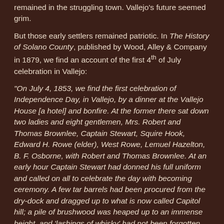remained in the struggling town. Vallejo's future seemed grim.
But those early settlers remained patriotic. In The History of Solano County, published by Wood, Alley & Company in 1879, we find an account of the first 4th of July celebration in Vallejo:
“On July 4, 1853, we find the first celebration of Independence Day, in Vallejo, by a dinner at the Vallejo House [a hotel] and bonfire. At the former there sat down two ladies and eight gentlemen, Mrs. Robert and Thomas Brownlee, Captain Stewart, Squire Hook, Edward H. Rowe (elder), West Rowe, Lemuel Hazelton, B. F. Osborne, with Robert and Thomas Brownlee. At an early hour Captain Stewart had donned his full uniform and called on all to celebrate the day with becoming ceremony. A few tar barrels had been procured from the dry-dock and dragged up to what is now called Capitol hill; a pile of brushwood was heaped up to an immense height, and ‘lashings of whisky’ had not been forgotten. At dark the hill was ablaze, making the surrounding country as light as day. Success to the